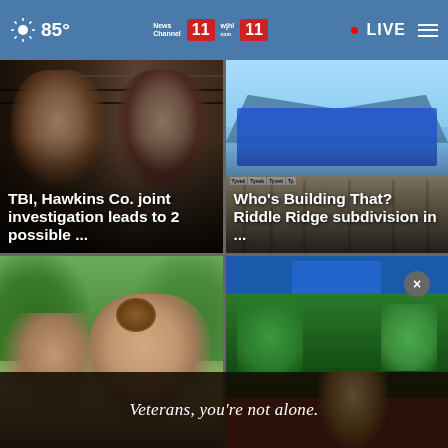85° | News Channel 11 | wjhl.com 11 | LIVE
[Figure (photo): Mugshot-style photo of two individuals against a lined backdrop]
TBI, Hawkins Co. joint investigation leads to 2 possible ...
[Figure (photo): House under construction with blue Tyvek wrap on roof framing]
Who's Building That? Riddle Ridge subdivision in ...
[Figure (photo): Outdoor portrait of a woman with greenery and fields in background]
[Figure (photo): Garden with green plants and blue barrel, red pavement visible]
Veterans, you're not alone.